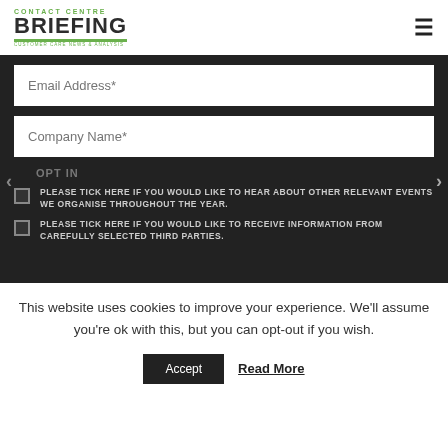Contact Centre BRIEFING
Email Address*
Company Name*
OPT IN
PLEASE TICK HERE IF YOU WOULD LIKE TO HEAR ABOUT OTHER RELEVANT EVENTS WE ORGANISE THROUGHOUT THE YEAR.
PLEASE TICK HERE IF YOU WOULD LIKE TO RECEIVE INFORMATION FROM CAREFULLY SELECTED THIRD PARTIES.
This website uses cookies to improve your experience. We'll assume you're ok with this, but you can opt-out if you wish.
Accept
Read More